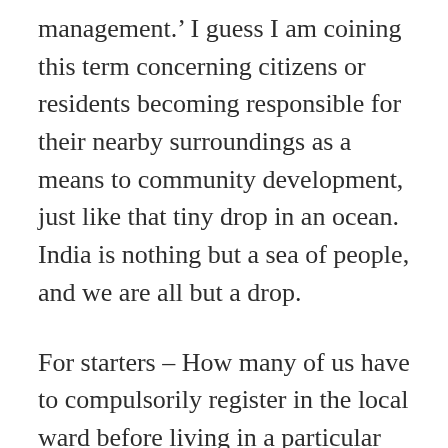management.' I guess I am coining this term concerning citizens or residents becoming responsible for their nearby surroundings as a means to community development, just like that tiny drop in an ocean. India is nothing but a sea of people, and we are all but a drop.
For starters – How many of us have to compulsorily register in the local ward before living in a particular locality? Do we have such a rule? If yes, I have not seen it being enforced. If not, why don't we appeal to respective local wards to